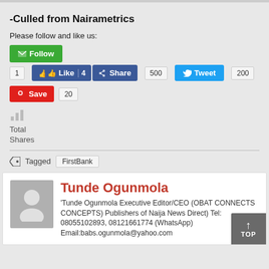-Culled from Nairametrics
Please follow and like us:
[Figure (screenshot): Social media buttons: Follow (green), Like 4 / Share (Facebook blue) with count 500, Tweet (Twitter blue) with count 200, Save (Pinterest red) with count 20, bar chart icon, Total Shares]
Tagged  FirstBank
Tunde Ogunmola — 'Tunde Ogunmola Executive Editor/CEO (OBAT CONNECTS CONCEPTS) Publishers of Naija News Direct) Tel: 08055102893, 08121661774 (WhatsApp) Email:babs.ogunmola@yahoo.com